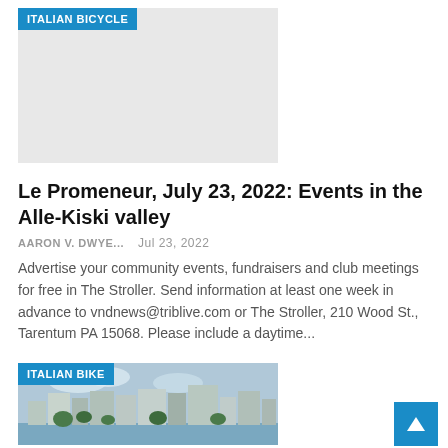[Figure (other): Gray placeholder image with ITALIAN BICYCLE badge]
Le Promeneur, July 23, 2022: Events in the Alle-Kiski valley
AARON V. DWYE...   Jul 23, 2022
Advertise your community events, fundraisers and club meetings for free in The Stroller. Send information at least one week in advance to vndnews@triblive.com or The Stroller, 210 Wood St., Tarentum PA 15068. Please include a daytime...
[Figure (photo): City waterfront photo with buildings and trees, with ITALIAN BIKE badge overlay]